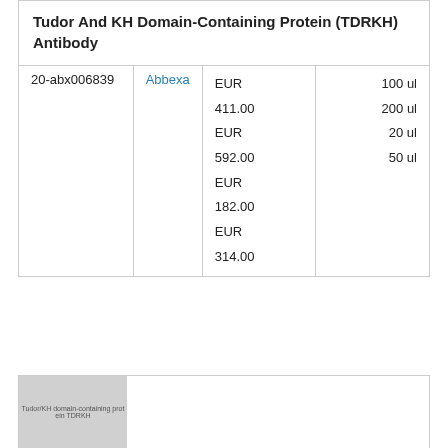Tudor And KH Domain-Containing Protein (TDRKH) Antibody
|  | Brand | Price | Size |
| --- | --- | --- | --- |
| 20-abx006839 | Abbexa | EUR 411.00
EUR 592.00
EUR 182.00
EUR 314.00 | 100 ul
200 ul
20 ul
50 ul |
[Figure (other): Truncated product image placeholder for TDRKH domain-containing protein]